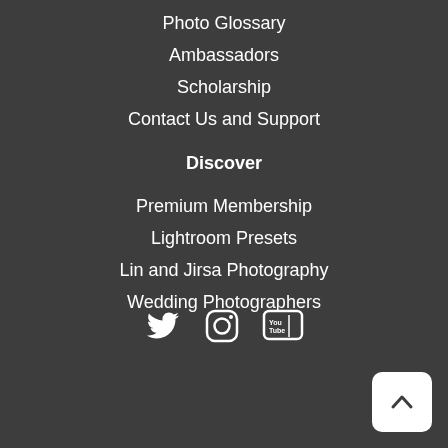Photo Glossary
Ambassadors
Scholarship
Contact Us and Support
Discover
Premium Membership
Lightroom Presets
Lin and Jirsa Photography
Wedding Photographers
[Figure (illustration): Social media icons: Twitter bird icon, Instagram camera icon, YouTube play button icon]
[Figure (illustration): Back to top button: white rounded rectangle with upward chevron arrow]